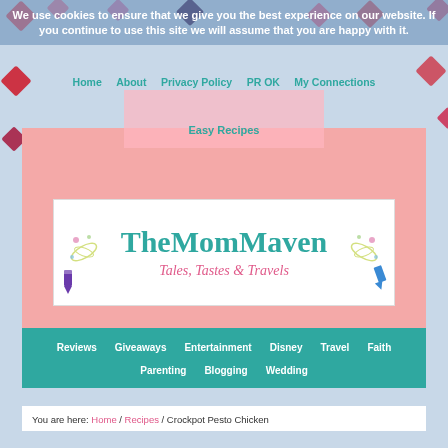We use cookies to ensure that we give you the best experience on our website. If you continue to use this site we will assume that you are happy with it.
Home | About | Privacy Policy | PR OK | My Connections | Easy Recipes
[Figure (logo): TheMomMaven logo with teal script text reading 'TheMomMaven' and pink italic subtitle 'Tales, Tastes & Travels', with decorative floral/sparkle elements and markers on a white background]
Reviews | Giveaways | Entertainment | Disney | Travel | Faith | Parenting | Blogging | Wedding
You are here: Home / Recipes / Crockpot Pesto Chicken